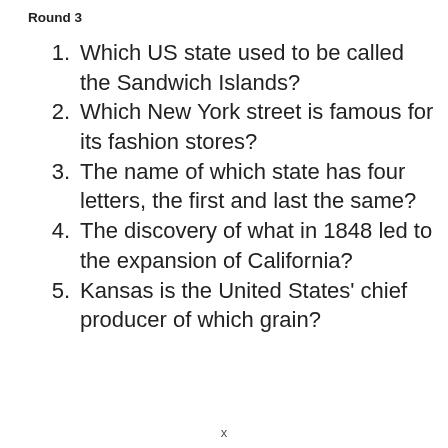Round 3
1. Which US state used to be called the Sandwich Islands?
2. Which New York street is famous for its fashion stores?
3. The name of which state has four letters, the first and last the same?
4. The discovery of what in 1848 led to the expansion of California?
5. Kansas is the United States' chief producer of which grain?
x